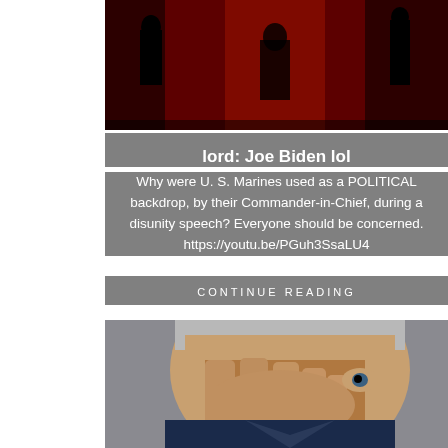[Figure (photo): Dark political speech backdrop image with silhouetted figures against red lighting]
lord: Joe Biden lol
Why were U. S. Marines used as a POLITICAL backdrop, by their Commander-in-Chief, during a disunity speech? Everyone should be concerned. https://youtu.be/PGuh3SsaLU4
CONTINUE READING
[Figure (photo): Close-up photo of Joe Biden covering his face with his hand, looking distressed]